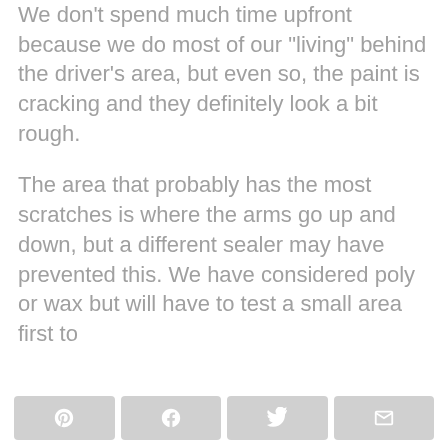We don’t spend much time upfront because we do most of our “living” behind the driver’s area, but even so, the paint is cracking and they definitely look a bit rough.
The area that probably has the most scratches is where the arms go up and down, but a different sealer may have prevented this. We have considered poly or wax but will have to test a small area first to
Share buttons: Pinterest, Facebook, Twitter, Email